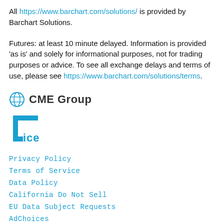All https://www.barchart.com/solutions/ is provided by Barchart Solutions.
Futures: at least 10 minute delayed. Information is provided 'as is' and solely for informational purposes, not for trading purposes or advice. To see all exchange delays and terms of use, please see https://www.barchart.com/solutions/terms.
[Figure (logo): CME Group logo with globe icon and bold text 'CME Group']
[Figure (logo): ICE logo with stylized bracket letters forming ICE]
Privacy Policy
Terms of Service
Data Policy
California Do Not Sell
EU Data Subject Requests
AdChoices